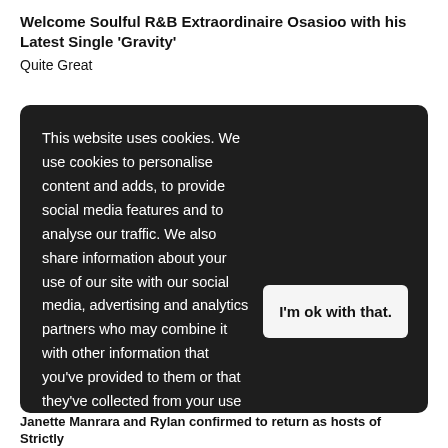Welcome Soulful R&B Extraordinaire Osasioo with his Latest Single 'Gravity'
Quite Great
This website uses cookies. We use cookies to personalise content and adds, to provide social media features and to analyse our traffic. We also share information about your use of our site with our social media, advertising and analytics partners who may combine it with other information that you've provided to them or that they've collected from your use of their services. Learn more
I'm ok with that.
Janette Manrara and Rylan confirmed to return as hosts of Strictly